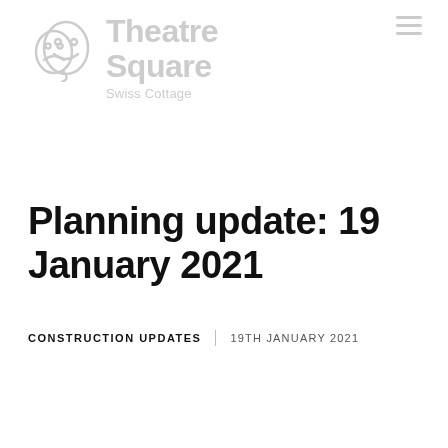[Figure (logo): Theatre Square Swiss Cottage logo with theatrical mask icon in grey, and text 'Theatre Square' with subtitle 'Swiss Cottage'. Hamburger menu icon in top right.]
Planning update: 19 January 2021
CONSTRUCTION UPDATES  |  19TH JANUARY 2021